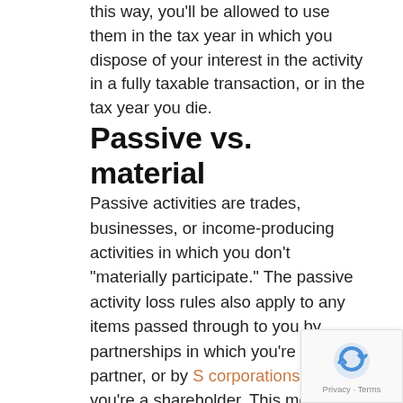this way, you'll be allowed to use them in the tax year in which you dispose of your interest in the activity in a fully taxable transaction, or in the tax year you die.
Passive vs. material
Passive activities are trades, businesses, or income-producing activities in which you don't "materially participate." The passive activity loss rules also apply to any items passed through to you by partnerships in which you're a partner, or by S corporations in which you're a shareholder. This means that any losses passed through to you by partnerships or S corporations will be treated as passive unless the activities aren't passive for you.